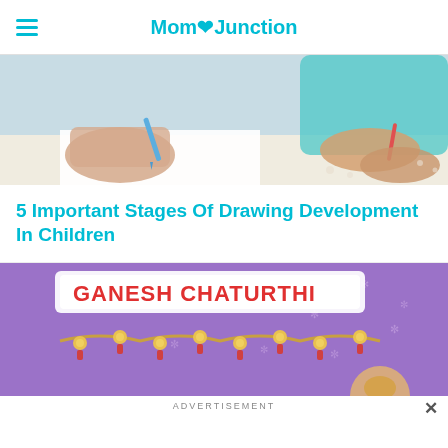MomJunction
[Figure (photo): Two children drawing or coloring with pencils/crayons on white paper, close-up of hands holding blue and red writing instruments]
5 Important Stages Of Drawing Development In Children
[Figure (illustration): Ganesh Chaturthi festive banner with text 'GANESH CHATURTHI' in red letters on white outlined background, decorative garlands on purple background with snowflake motifs]
ADVERTISEMENT